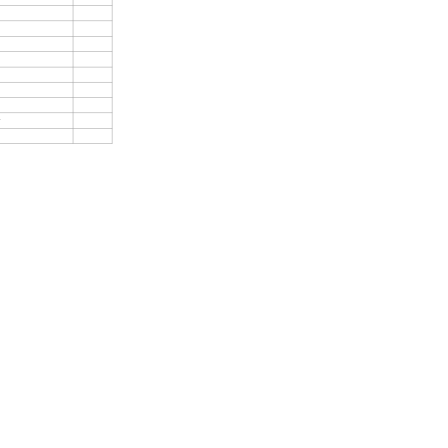| Name | Score | Description |  |
| --- | --- | --- | --- |
| Mick Rich | s1+ | NM Republican candidate for New Mexico U.S. Senator |  |
| Denver Riggleman | s1+ | Virginia Republican |  |
| Matt Rosendale | s1+ | Montana Republican |  |
| Dino Rossi | s1+ | WA Republican Challenger (2010) |  |
| Ross Spano | s1+ | Florida Republican |  |
| Pete Stauber | s1+ | Minnesota Republican |  |
| Bryan Steil | s1+ | Wisconsin Republican |  |
| Danny Tarkanian | s1+ | NV Republican candidate for Nevada U.S. Senator |  |
| Leah Vukmir | s1+ | WI Republican candidate for Wisconsin U.S. Senator |  |
| Roger Wicker | s1+ | Mississippi Republican (Senate 2008) |  |